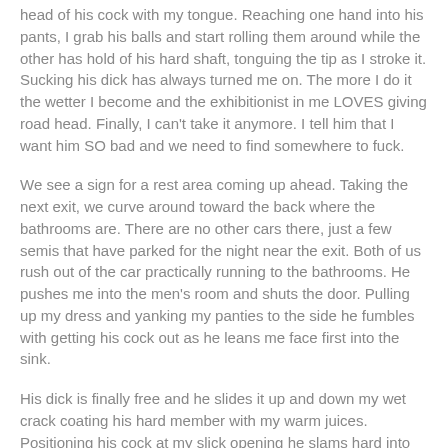head of his cock with my tongue.  Reaching one hand into his pants, I grab his balls and start rolling them around while the other has hold of his hard shaft, tonguing the tip as I stroke it.  Sucking his dick has always turned me on.  The more I do it the wetter I become and the exhibitionist in me LOVES giving road head.  Finally, I can't take it anymore.  I tell him that I want him SO bad and we need to find somewhere to fuck.
We see a sign for a rest area coming up ahead.  Taking the next exit, we curve around toward the back where the bathrooms are.  There are no other cars there, just a few semis that have parked for the night near the exit.  Both of us rush out of the car practically running to the bathrooms.  He pushes me into the men's room and shuts the door.  Pulling up my dress and yanking my panties to the side he fumbles with getting his cock out as he leans me face first into the sink.
His dick is finally free and he slides it up and down my wet crack coating his hard member with my warm juices.  Positioning his cock at my slick opening he slams hard into my pussy making me scream out as I am suddenly filled, stretching my skin so tightly around him.  He is pounding into me harder and harder as I am pushing my ass back to meet him thrust for thrust.  I start cumming, squirting my hot cum all over him like a faucet.  It is running down my legs and all over his stomach, dripping evenly on the floor.